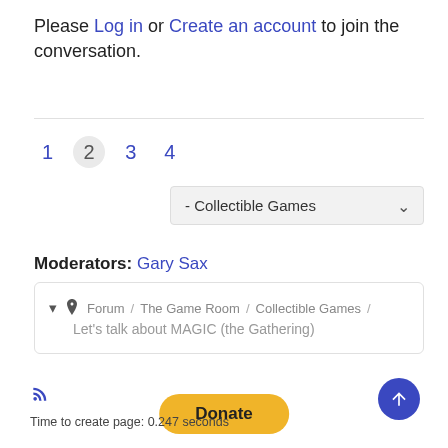Please Log in or Create an account to join the conversation.
1  2  3  4 (pagination)
- Collectible Games (dropdown)
Moderators: Gary Sax
Forum / The Game Room / Collectible Games / Let's talk about MAGIC (the Gathering)
Donate
Time to create page: 0.247 seconds